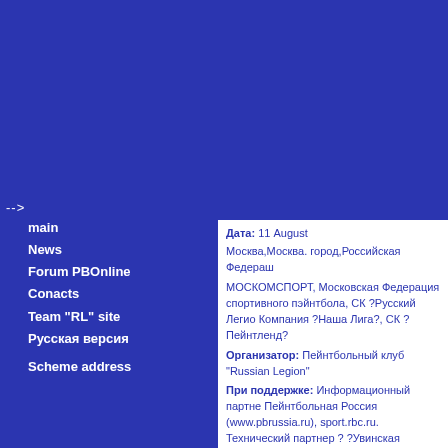main
News
Forum PBOnline
Conacts
Team "RL" site
Русская версия
Scheme address
Дата: 11 August
Москва,Москва. город,Российская Федераш
МОСКОМСПОРТ, Московская Федерация спортивного пэйнтбола, СК ?Русский Легио Компания ?Наша Лига?, СК ?Пейнтленд?
Организатор: Пейнтбольный клуб "Russian Legion"
При поддержке: Информационный партне Пейнтбольная Россия (www.pbrussia.ru), sport.rbc.ru. Технический партнер ? ?Увинская жемчужи
Tourney series K2K
Формат 5х5, один купол, поле SupAir ball Millenium, искусственный газон.
Лиги
?Высшая лига? - лимит 10 команд (формат